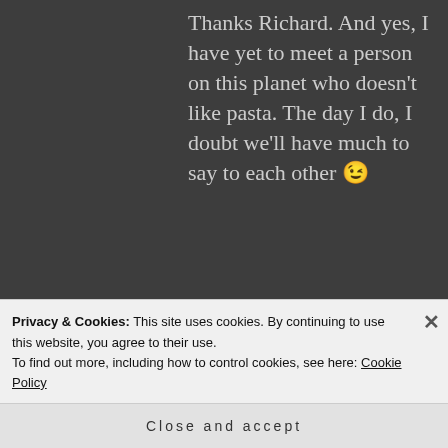Thanks Richard. And yes, I have yet to meet a person on this planet who doesn't like pasta. The day I do, I doubt we'll have much to say to each other 😉
[Figure (photo): Circular black and white avatar photo of a woman]
GATHER AND GRAZE says: ↵ Reply
January 4, 2014 at 2:23 am
What a gorgeous old family photo. Isn't
Privacy & Cookies: This site uses cookies. By continuing to use this website, you agree to their use.
To find out more, including how to control cookies, see here: Cookie Policy
Close and accept